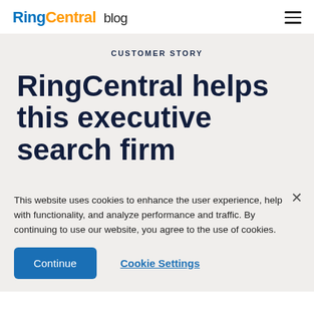RingCentral blog
CUSTOMER STORY
RingCentral helps this executive search firm
This website uses cookies to enhance the user experience, help with functionality, and analyze performance and traffic. By continuing to use our website, you agree to the use of cookies.
Continue | Cookie Settings